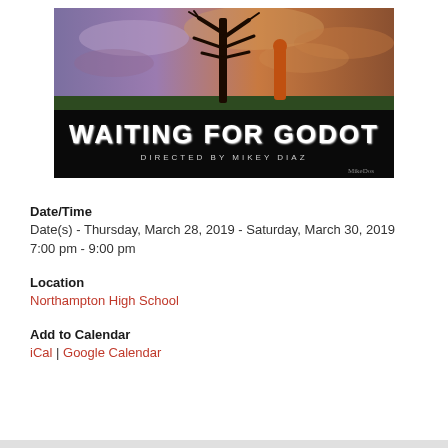[Figure (illustration): Artistic poster for 'Waiting for Godot' theatrical production. Dark illustration showing a bare spindly tree against a colorful sky of orange, green, and purple swirls. A dark figure stands near the tree. Large stylized white text reads 'WAITING FOR GODOT' and below in smaller text 'DIRECTED BY MIKEY DIAZ' on a black background.]
Date/Time
Date(s)  -  Thursday, March 28, 2019  -  Saturday, March 30, 2019
7:00 pm - 9:00 pm
Location
Northampton High School
Add to Calendar
iCal | Google Calendar